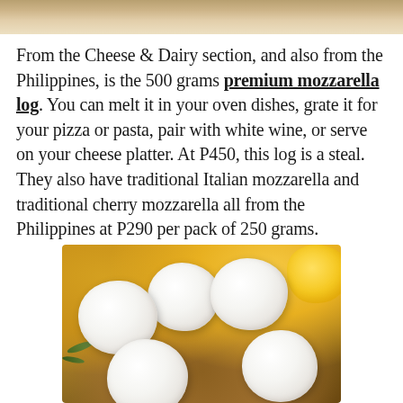[Figure (photo): Top portion of a food photo, partially cropped, showing what appears to be cheese or food items on a surface]
From the Cheese & Dairy section, and also from the Philippines, is the 500 grams premium mozzarella log. You can melt it in your oven dishes, grate it for your pizza or pasta, pair with white wine, or serve on your cheese platter. At P450, this log is a steal. They also have traditional Italian mozzarella and traditional cherry mozzarella all from the Philippines at P290 per pack of 250 grams.
[Figure (photo): Photo of fresh mozzarella cheese pieces (round, white) on a wooden board with herbs and lemons in the background]